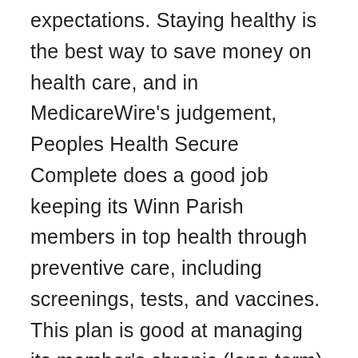expectations. Staying healthy is the best way to save money on health care, and in MedicareWire's judgement, Peoples Health Secure Complete does a good job keeping its Winn Parish members in top health through preventive care, including screenings, tests, and vaccines. This plan is good at managing its member's chronic (long-term) health conditions. Medicare beneficiaries enrolled in this Peoples Health plan enjoy a good member experience. Complaints and changes in plan performance are one way we can measure quality, and this plan scores good at both. The plan shines at customer service with an overall excellent mark on this important metric.